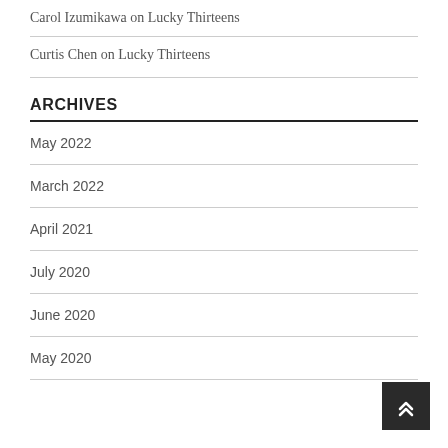Carol Izumikawa on Lucky Thirteens
Curtis Chen on Lucky Thirteens
ARCHIVES
May 2022
March 2022
April 2021
July 2020
June 2020
May 2020